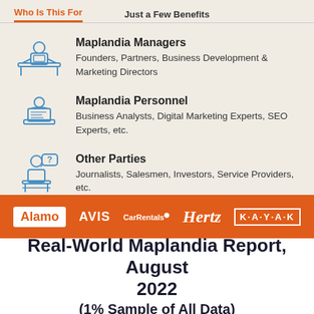Who Is This For | Just a Few Benefits
Maplandia Managers — Founders, Partners, Business Development & Marketing Directors
Maplandia Personnel — Business Analysts, Digital Marketing Experts, SEO Experts, etc.
Other Parties — Journalists, Salesmen, Investors, Service Providers, etc.
[Figure (logo): Orange banner with logos: Alamo, AVIS, CarRentals.com, Hertz, KAYAK]
Real-World Maplandia Report, August 2022
(1% Sample of All Data)